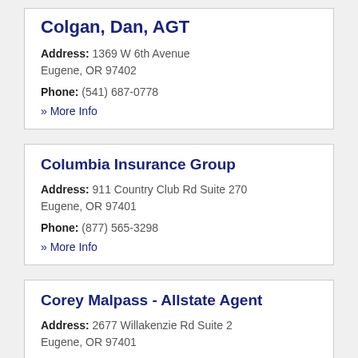Colgan, Dan, AGT
Address: 1369 W 6th Avenue Eugene, OR 97402
Phone: (541) 687-0778
» More Info
Columbia Insurance Group
Address: 911 Country Club Rd Suite 270 Eugene, OR 97401
Phone: (877) 565-3298
» More Info
Corey Malpass - Allstate Agent
Address: 2677 Willakenzie Rd Suite 2 Eugene, OR 97401